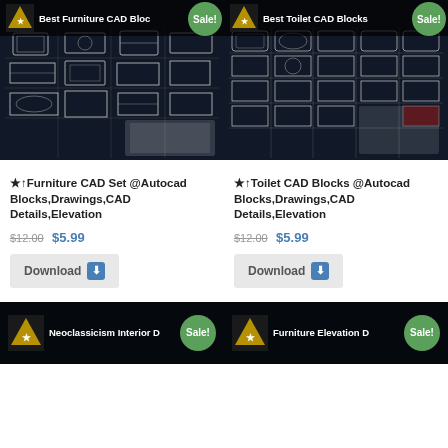[Figure (screenshot): Product card image for Furniture CAD Set showing CAD drawings on dark background with a sofa photo overlay, banner with logo and text 'Best Furniture CAD Bloc' and green Sale badge]
★↑Furniture CAD Set @Autocad Blocks,Drawings,CAD Details,Elevation
$12.00 $5.99
Download
[Figure (screenshot): Product card image for Toilet CAD Blocks showing CAD drawings on dark background with toilet/bathroom fixture photos overlay, banner with logo and text 'Best Toilet CAD Blocks' and green Sale badge]
★↑Toilet CAD Blocks @Autocad Blocks,Drawings,CAD Details,Elevation
$12.00 $5.99
Download
[Figure (screenshot): Partial product card at bottom left for Neoclassicism Interior D with logo and Sale badge]
[Figure (screenshot): Partial product card at bottom right for Furniture Elevation D with logo and Sale badge]